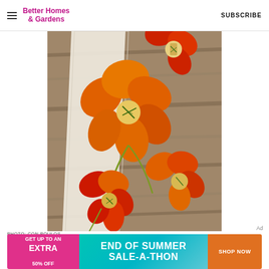Better Homes & Gardens | SUBSCRIBE
[Figure (photo): Overhead view of nasturtium flowers (orange, red, yellow) with cheese-filled buds on a rustic wooden surface with parchment paper]
PHOTO: CON POULOS
[Figure (infographic): Advertisement banner: GET UP TO AN EXTRA 50% OFF | END OF SUMMER SALE-A-THON | SHOP NOW]